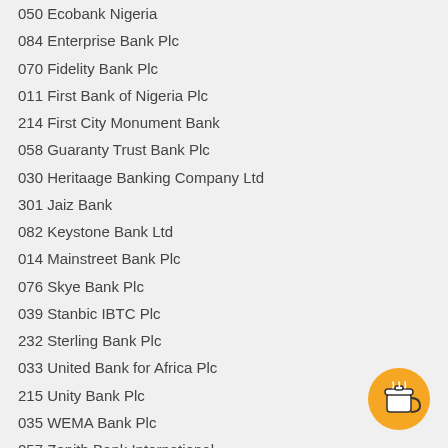050 Ecobank Nigeria
084 Enterprise Bank Plc
070 Fidelity Bank Plc
011 First Bank of Nigeria Plc
214 First City Monument Bank
058 Guaranty Trust Bank Plc
030 Heritaage Banking Company Ltd
301 Jaiz Bank
082 Keystone Bank Ltd
014 Mainstreet Bank Plc
076 Skye Bank Plc
039 Stanbic IBTC Plc
232 Sterling Bank Plc
033 United Bank for Africa Plc
215 Unity Bank Plc
035 WEMA Bank Plc
057 Zenith Bank International
[Figure (illustration): Orange circular button with a coffee cup icon (Buy Me a Coffee button)]